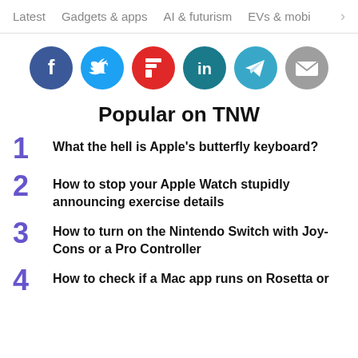Latest   Gadgets & apps   AI & futurism   EVs & mobil  >
[Figure (infographic): Row of six social media share buttons: Facebook (blue circle), Twitter (light blue circle), Flipboard (red circle), LinkedIn (teal circle), Telegram (teal circle), Email (gray circle)]
Popular on TNW
1  What the hell is Apple's butterfly keyboard?
2  How to stop your Apple Watch stupidly announcing exercise details
3  How to turn on the Nintendo Switch with Joy-Cons or a Pro Controller
4  How to check if a Mac app runs on Rosetta or